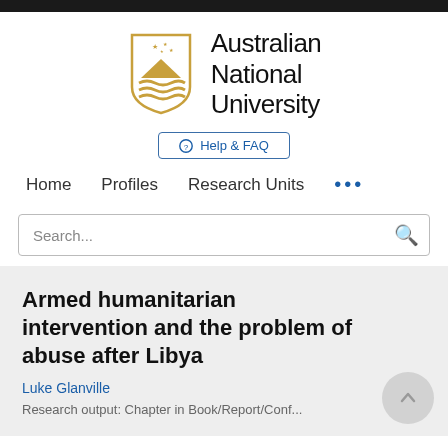[Figure (logo): Australian National University logo: gold shield with mountain and wave motif and stars, next to bold 'Australian National University' text]
⊕ Help & FAQ
Home   Profiles   Research Units   ...
Search...
Armed humanitarian intervention and the problem of abuse after Libya
Luke Glanville
Research output: Chapter in Book/Report/Conf...